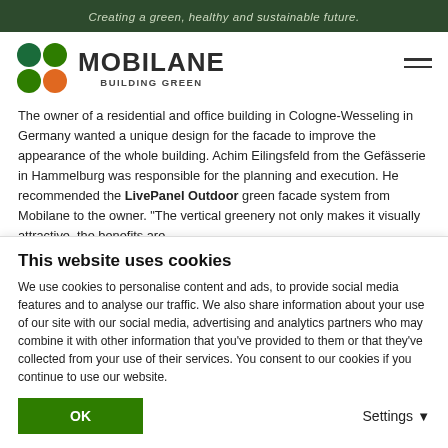Creating a green, healthy and sustainable future.
[Figure (logo): Mobilane logo with four circles (green and orange) and text MOBILANE BUILDING GREEN]
The owner of a residential and office building in Cologne-Wesseling in Germany wanted a unique design for the facade to improve the appearance of the whole building. Achim Eilingsfeld from the Gefässerie in Hammelburg was responsible for the planning and execution. He recommended the LivePanel Outdoor green facade system from Mobilane to the owner. “The vertical greenery not only makes it visually attractive, the benefits are
This website uses cookies
We use cookies to personalise content and ads, to provide social media features and to analyse our traffic. We also share information about your use of our site with our social media, advertising and analytics partners who may combine it with other information that you’ve provided to them or that they’ve collected from your use of their services. You consent to our cookies if you continue to use our website.
OK
Settings